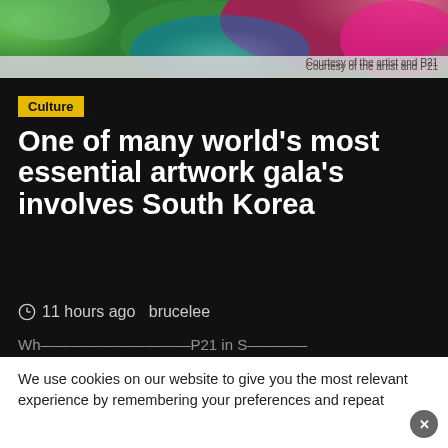[Figure (photo): Colorful nature/garden photo with vibrant green foliage and pink flowers]
Courtesy of the artist and P21
Culture
One of many world's most essential artwork gala's involves South Korea
11 hours ago  brucelee
We use cookies on our website to give you the most relevant experience by remembering your preferences and repeat visits. By clicking "Accept All", you consent to the use of ALL t provide a controlled consent.
This website stores data such as cookies to enable necessary site functionality, including analytics, targeting, and personalization. By remaining on this website you indicate your consent Cookie Policy